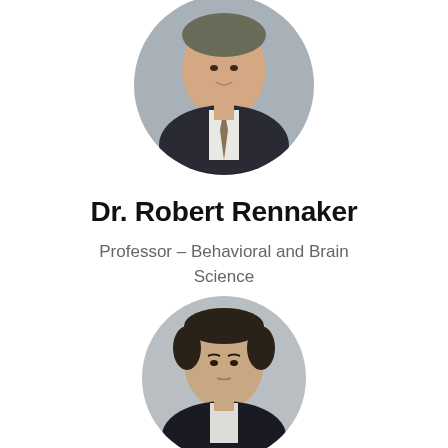[Figure (photo): Circular headshot photo of Dr. Robert Rennaker, a man in a dark suit with a patterned tie, photographed against a grey background, cropped at top of page]
Dr. Robert Rennaker
Professor – Behavioral and Brain Science
[Figure (photo): Circular headshot photo of a second person, a man with short dark hair wearing a dark suit, photographed against a light grey background, partially visible at bottom of page]